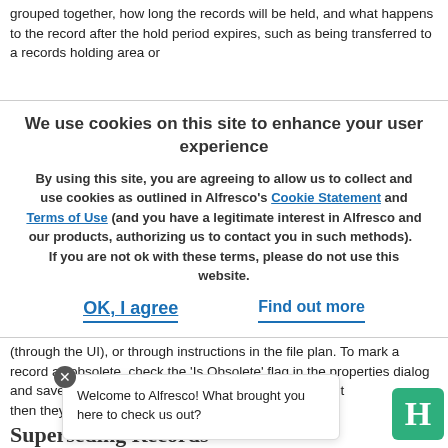grouped together, how long the records will be held, and what happens to the record after the hold period expires, such as being transferred to a records holding area or
We use cookies on this site to enhance your user experience
By using this site, you are agreeing to allow us to collect and use cookies as outlined in Alfresco's Cookie Statement and Terms of Use (and you have a legitimate interest in Alfresco and our products, authorizing us to contact you in such methods).   If you are not ok with these terms, please do not use this website.
OK, I agree
Find out more
(through the UI), or through instructions in the file plan. To mark a record as obsolete, check the 'Is Obsolete' flag in the properties dialog and save. Upon save, if the file plan dete...   de... then they will
Welcome to Alfresco! What brought you here to check us out?
Superseding Records